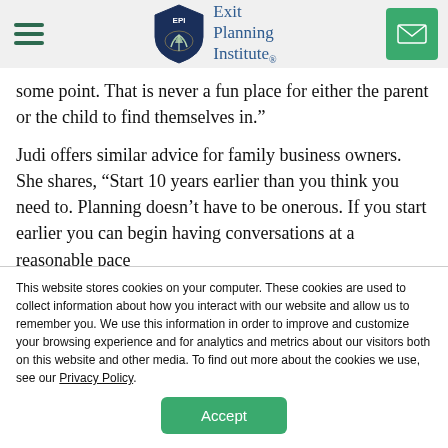Exit Planning Institute
some point. That is never a fun place for either the parent or the child to find themselves in.”
Judi offers similar advice for family business owners. She shares, “Start 10 years earlier than you think you need to. Planning doesn’t have to be onerous. If you start earlier you can begin having conversations at a reasonable pace
This website stores cookies on your computer. These cookies are used to collect information about how you interact with our website and allow us to remember you. We use this information in order to improve and customize your browsing experience and for analytics and metrics about our visitors both on this website and other media. To find out more about the cookies we use, see our Privacy Policy.